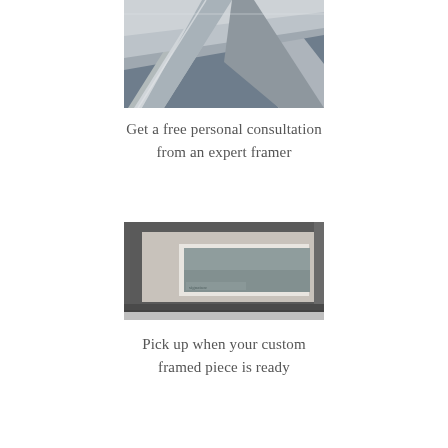[Figure (photo): Close-up of a silver/metallic picture frame corner showing ornate molding detail against a blue-grey background]
Get a free personal consultation
from an expert framer
[Figure (photo): Corner of a framed artwork with a dark grey/charcoal frame and white mat around a grey-toned painting or print]
Pick up when your custom
framed piece is ready